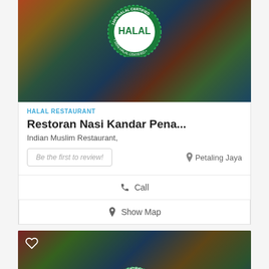[Figure (photo): Food photo showing various Middle Eastern / halal dishes on a dark blue table, with a green Halal Certified 100% stamp overlaid in the center top]
HALAL RESTAURANT
Restoran Nasi Kandar Pena...
Indian Muslim Restaurant,
Be the first to review!
Petaling Jaya
Call
Show Map
[Figure (photo): Second food photo showing various dishes including grilled meats, salads, tomatoes, with a green Halal Certified 100% stamp and a reCAPTCHA badge in the bottom right corner]